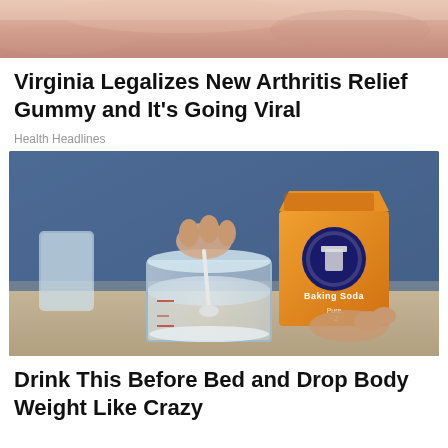[Figure (photo): Close-up photo of a person's hand/skin, pinkish skin tones]
Virginia Legalizes New Arthritis Relief Gummy and It's Going Viral
Health Headlines
[Figure (photo): Person holding a box of Arm & Hammer Baking Soda while spooning powder into a mason jar on a kitchen counter]
Drink This Before Bed and Drop Body Weight Like Crazy